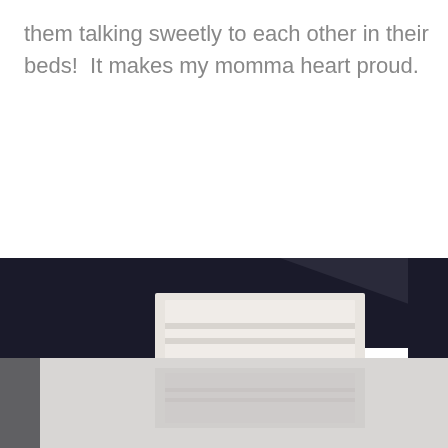them talking sweetly to each other in their beds!  It makes my momma heart proud.
[Figure (photo): Photo of a bedroom scene with a dark navy/black wall and a white bed headboard visible, with a light gray/white floor reflecting the furniture. The image is cropped showing the lower portion of the room.]